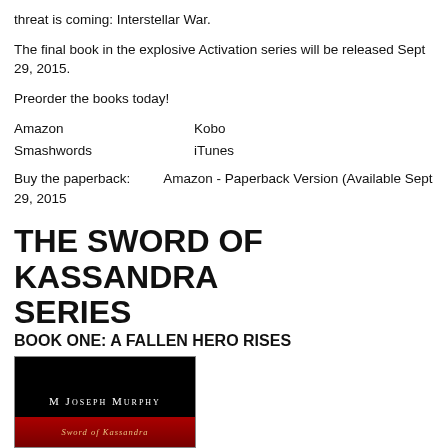threat is coming: Interstellar War.
The final book in the explosive Activation series will be released Sept 29, 2015.
Preorder the books today!
Amazon    Kobo
Smashwords    iTunes
Buy the paperback:          Amazon - Paperback Version (Available Sept 29, 2015
THE SWORD OF KASSANDRA SERIES
BOOK ONE: A FALLEN HERO RISES
[Figure (photo): Book cover for 'A Fallen Hero Rises' by M Joseph Murphy, black background with author name in white serif font and red bottom bar with decorative text]